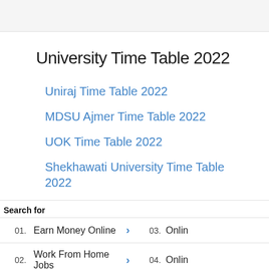University Time Table 2022
Uniraj Time Table 2022
MDSU Ajmer Time Table 2022
UOK Time Table 2022
Shekhawati University Time Table 2022
Search for
01. Earn Money Online
02. Work From Home Jobs
03. Onlin
04. Onlin
Yahoo! Search | Sponsored